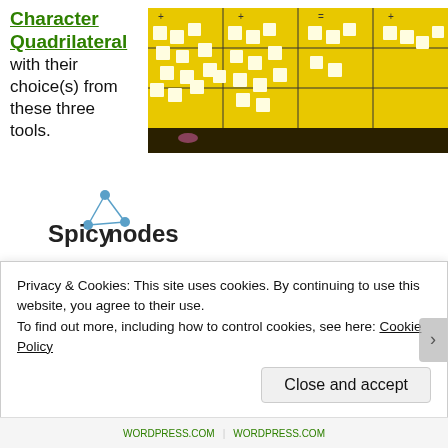Character Quadrilateral
with their choice(s) from these three tools.
[Figure (photo): Photo of a yellow board covered with sticky notes arranged in a grid pattern on a dark table surface.]
[Figure (logo): SpicyNodes logo: stylized molecule/node graphic in blue above the text 'Spicynodes' in dark letters]
Positives:
“I like it because it was easy to use. It was all organized. You
Privacy & Cookies: This site uses cookies. By continuing to use this website, you agree to their use.
To find out more, including how to control cookies, see here: Cookie Policy
Close and accept